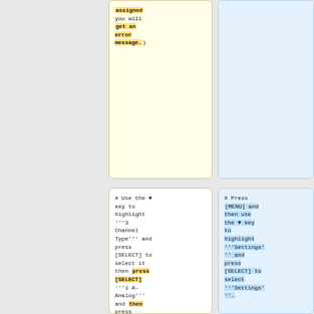assigned you will get an error message.)
# Use the ▼ key to highlight '''3 Channel Type''' and press [SELECT] to select it then press [SELECT] '''1 A-Analog''' and then press [Back].
# Press [MENU] and then use the ▼ key to highlight '''Settings'' and press [SELECT] to select '''Settings''.